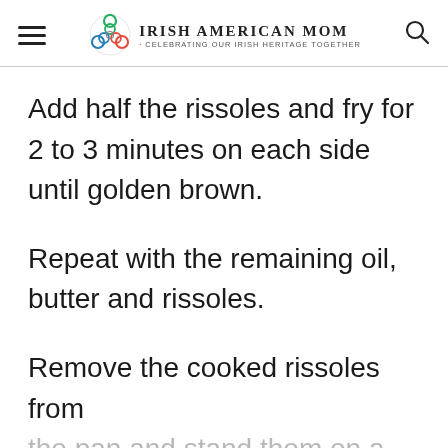Irish American Mom - Celebrating Our Irish Heritage Together
Add half the rissoles and fry for 2 to 3 minutes on each side until golden brown.
Repeat with the remaining oil, butter and rissoles.
Remove the cooked rissoles from the pan and stand them on a plate